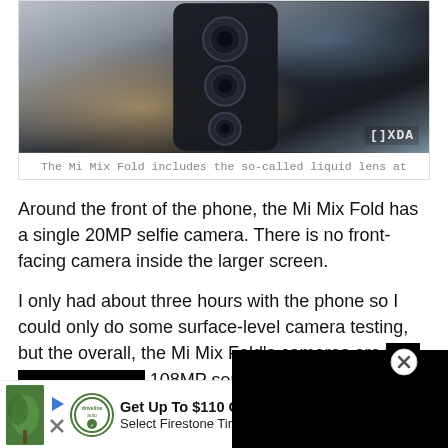[Figure (photo): Close-up photo of the Mi Mix Fold smartphone showing its triple rear camera system. The image has an XDA logo watermark in the bottom-right corner.]
The Mi Mix Fold includes the so-called liquid lens at the top, a 108MP main camera in the middle, and a 13MP ultra-wide in the bottom.
Around the front of the phone, the Mi Mix Fold has a single 20MP selfie camera. There is no front-facing camera inside the larger screen.
I only had about three hours with the phone so I could only do some surface-level camera testing, but the overall, the Mi Mix Fold's cameras are [obscured] the 108MP sensor produces natu[ra...] relatively close to a subject, an[d...] dynamic range even shooting di[...]
[Figure (other): Black video ad overlay popup covering part of the article text, with a close (X) button in the top-right.]
[Figure (other): Advertisement banner: Get Up To $110 Off a Set of 4 Select Firestone Tires, with Driveline Auto logo and blue directional arrow logo.]